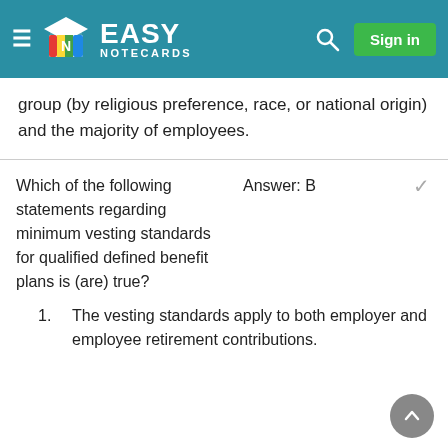Easy Notecards — Sign in
group (by religious preference, race, or national origin) and the majority of employees.
Which of the following statements regarding minimum vesting standards for qualified defined benefit plans is (are) true?
Answer: B
The vesting standards apply to both employer and employee retirement contributions.